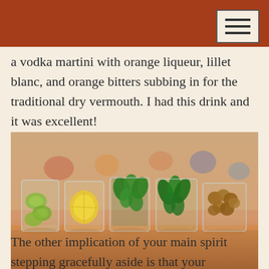a vodka martini with orange liqueur, lillet blanc, and orange bitters subbing in for the traditional dry vermouth. I had this drink and it was excellent!
[Figure (photo): Five lowball glasses filled with different cocktail garnishes on a bar counter: cucumber slices, lemon slices, fresh herbs/basil, leafy greens, and small round olives or grapes.]
The other implication of your main spirit stepping gracefully aside is that your secondary ingredients and